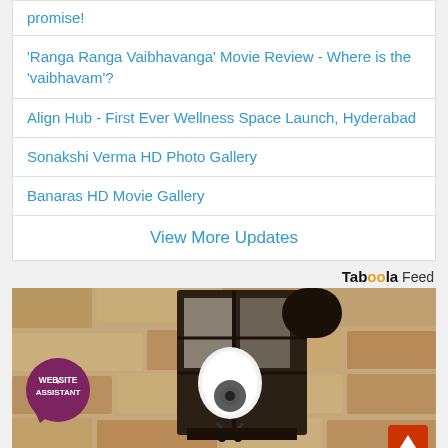promise!
'Ranga Ranga Vaibhavanga' Movie Review - Where is the 'vaibhavam'?
Align Hub - First Ever Wellness Space Launch, Hyderabad
Sonakshi Verma HD Photo Gallery
Banaras HD Movie Gallery
View More Updates
Taboola Feed
[Figure (photo): Outdoor lantern-style wall light fixture with a white security camera bulb installed inside, mounted on a textured stone wall. A dark purple circular badge with 'WEBSITE ASSISTANT' text is overlaid at the bottom left. A red scroll-to-top button is at the bottom right.]